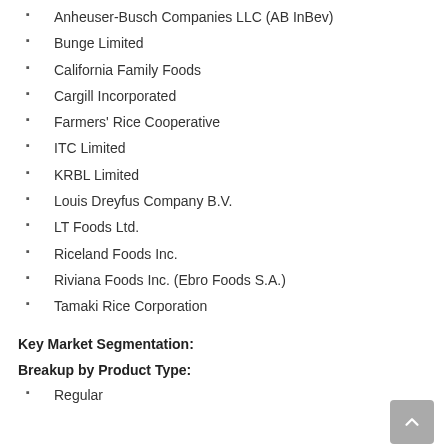Anheuser-Busch Companies LLC (AB InBev)
Bunge Limited
California Family Foods
Cargill Incorporated
Farmers' Rice Cooperative
ITC Limited
KRBL Limited
Louis Dreyfus Company B.V.
LT Foods Ltd.
Riceland Foods Inc.
Riviana Foods Inc. (Ebro Foods S.A.)
Tamaki Rice Corporation
Key Market Segmentation:
Breakup by Product Type:
Regular